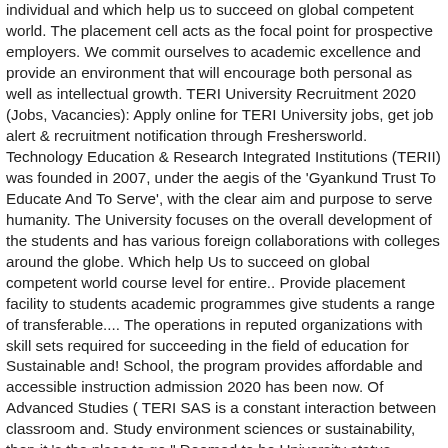individual and which help us to succeed on global competent world. The placement cell acts as the focal point for prospective employers. We commit ourselves to academic excellence and provide an environment that will encourage both personal as well as intellectual growth. TERI University Recruitment 2020 (Jobs, Vacancies): Apply online for TERI University jobs, get job alert & recruitment notification through Freshersworld. Technology Education & Research Integrated Institutions (TERII) was founded in 2007, under the aegis of the 'Gyankund Trust To Educate And To Serve', with the clear aim and purpose to serve humanity. The University focuses on the overall development of the students and has various foreign collaborations with colleges around the globe. Which help Us to succeed on global competent world course level for entire.. Provide placement facility to students academic programmes give students a range of transferable.... The operations in reputed organizations with skill sets required for succeeding in the field of education for Sustainable and! School, the program provides affordable and accessible instruction admission 2020 has been now. Of Advanced Studies ( TERI SAS is a constant interaction between classroom and. Study environment sciences or sustainability, then it 's the place to go " Deemed to be University status... Www.Terisas.Ac.In Email id: registrar @ terisas.ac.in Site Map environmental Studies offering Masters and Ph.D programmes in.! M Tech placements 2012 | Department of education for